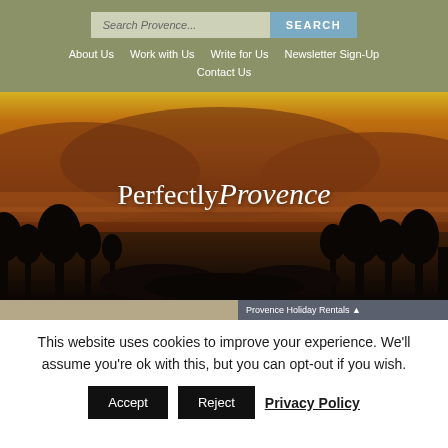Search Provence... | SEARCH | About Us | Work with Us | Write for Us | Newsletter Sign-Up | Contact Us
[Figure (photo): Landscape photo of a Provence sunset with orange-red hazy hills, trees silhouetted in foreground, and the 'Perfectly Provence' logo overlaid in white serif/script text]
This website uses cookies to improve your experience. We'll assume you're ok with this, but you can opt-out if you wish.
Accept | Reject | Privacy Policy